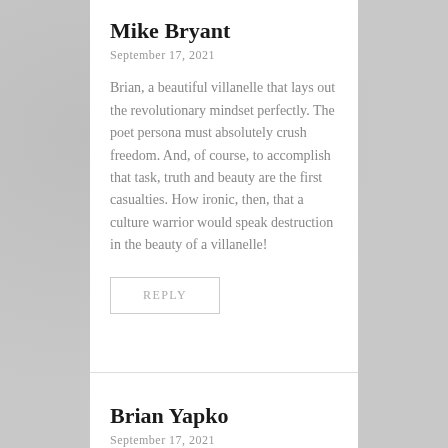Mike Bryant
September 17, 2021
Brian, a beautiful villanelle that lays out the revolutionary mindset perfectly. The poet persona must absolutely crush freedom. And, of course, to accomplish that task, truth and beauty are the first casualties. How ironic, then, that a culture warrior would speak destruction in the beauty of a villanelle!
REPLY
Brian Yapko
September 17, 2021